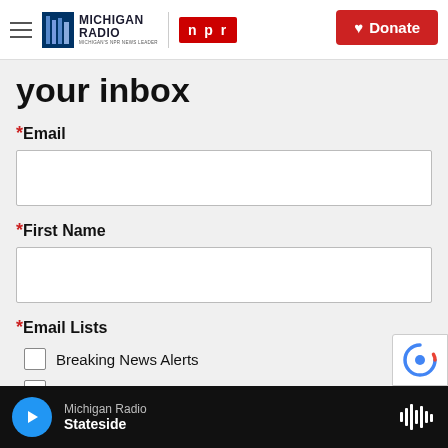[Figure (logo): Michigan Radio NPR logo and navigation header with hamburger menu and Donate button]
your inbox
*Email
*First Name
*Email Lists
Breaking News Alerts
The Michigan Radio Beat (daily)
Michigan Radio — Stateside